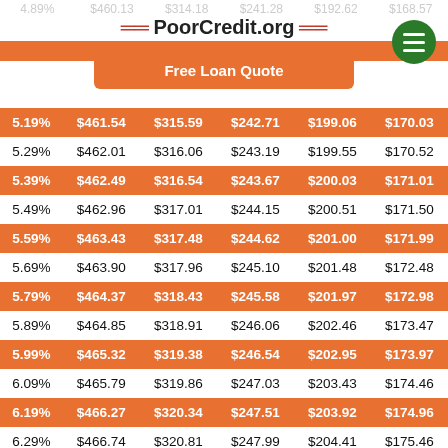PoorCredit.org
Free Loan Quote
| Rate | Col1 | Col2 | Col3 | Col4 | Col5 |
| --- | --- | --- | --- | --- | --- |
| 5.19% | $461.54 | $315.59 | $242.71 | $199.06 | $170.03 |
| 5.29% | $462.01 | $316.06 | $243.19 | $199.55 | $170.52 |
| 5.39% | $462.49 | $316.54 | $243.67 | $200.03 | $171.01 |
| 5.49% | $462.96 | $317.01 | $244.15 | $200.51 | $171.50 |
| 5.59% | $463.43 | $317.48 | $244.62 | $201.00 | $171.99 |
| 5.69% | $463.90 | $317.96 | $245.10 | $201.48 | $172.48 |
| 5.79% | $464.37 | $318.43 | $245.58 | $201.97 | $172.98 |
| 5.89% | $464.85 | $318.91 | $246.06 | $202.46 | $173.47 |
| 5.99% | $465.32 | $319.38 | $246.54 | $202.95 | $173.97 |
| 6.09% | $465.79 | $319.86 | $247.03 | $203.43 | $174.46 |
| 6.19% | $466.27 | $320.34 | $247.51 | $203.92 | $174.96 |
| 6.29% | $466.74 | $320.81 | $247.99 | $204.41 | $175.46 |
| 6.39% | $467.21 | $321.29 | $248.47 | $204.90 | $175.96 |